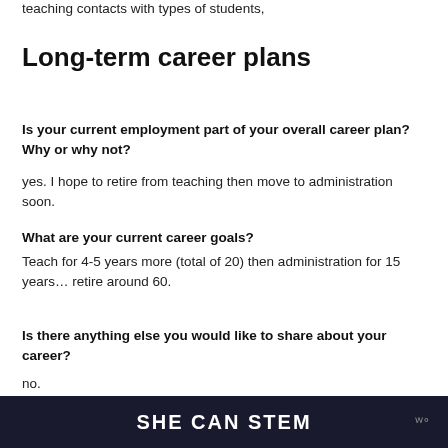teaching contacts with types of students,
Long-term career plans
Is your current employment part of your overall career plan? Why or why not?
yes. I hope to retire from teaching then move to administration soon.
What are your current career goals?
Teach for 4-5 years more (total of 20) then administration for 15 years… retire around 60.
Is there anything else you would like to share about your career?
no.
SHE CAN STEM